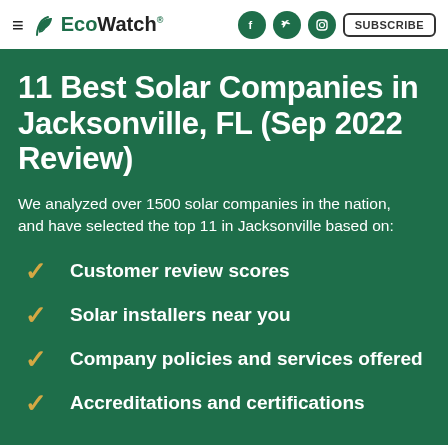EcoWatch — SUBSCRIBE
11 Best Solar Companies in Jacksonville, FL (Sep 2022 Review)
We analyzed over 1500 solar companies in the nation, and have selected the top 11 in Jacksonville based on:
Customer review scores
Solar installers near you
Company policies and services offered
Accreditations and certifications